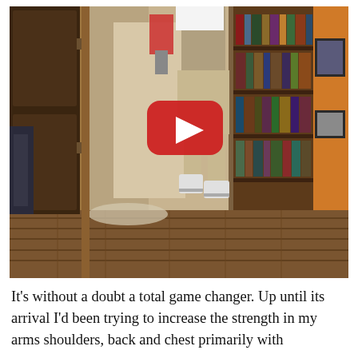[Figure (photo): A YouTube video thumbnail showing a person jumping or doing pull-ups in a home hallway with hardwood floors, a bookshelf on the right wall, an open door on the left leading to another room, and an orange wall visible on the far right. A red YouTube play button is overlaid in the center.]
It's without a doubt a total game changer. Up until its arrival I'd been trying to increase the strength in my arms shoulders, back and chest primarily with